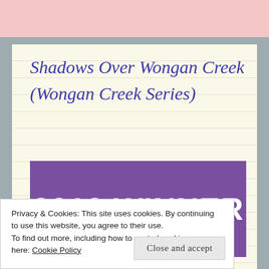[Figure (other): Pink top banner bar]
Shadows Over Wongan Creek (Wongan Creek Series)
[Figure (other): Purple banner with text '2019 WINNER' in white bold letters]
Privacy & Cookies: This site uses cookies. By continuing to use this website, you agree to their use.
To find out more, including how to control cookies, see here: Cookie Policy
Close and accept